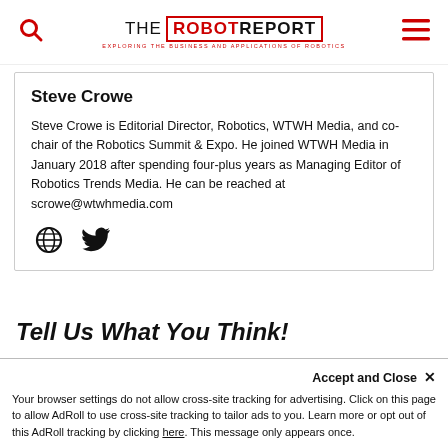THE ROBOT REPORT — EXPLORING THE BUSINESS AND APPLICATIONS OF ROBOTICS
Steve Crowe
Steve Crowe is Editorial Director, Robotics, WTWH Media, and co-chair of the Robotics Summit & Expo. He joined WTWH Media in January 2018 after spending four-plus years as Managing Editor of Robotics Trends Media. He can be reached at scrowe@wtwhmedia.com
[Figure (illustration): Globe icon and Twitter bird icon for social media links]
Tell Us What You Think!
Accept and Close ✕
Your browser settings do not allow cross-site tracking for advertising. Click on this page to allow AdRoll to use cross-site tracking to tailor ads to you. Learn more or opt out of this AdRoll tracking by clicking here. This message only appears once.